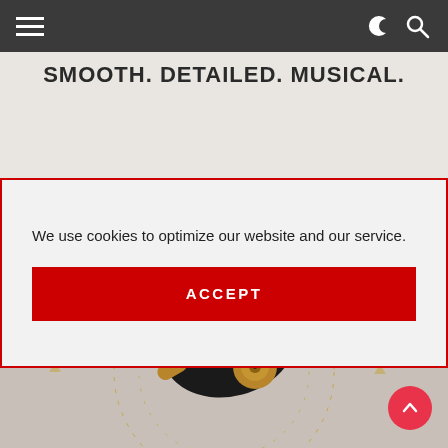Navigation bar with hamburger menu and dark/search icons
SMOOTH. DETAILED. MUSICAL.
[Figure (photo): Black and gold in-ear monitor earphone with decorative circular pattern on white/light grey surface]
We use cookies to optimize our website and our service.
ACCEPT